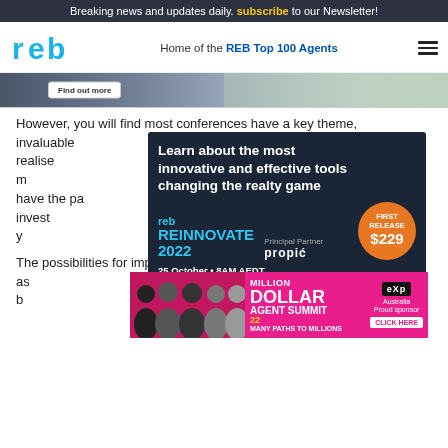Breaking news and updates daily. subscribe to our Newsletter!
reb — Home of the REB Top 100 Agents
[Figure (photo): Partial real estate advertisement banner showing a building/property image with a Find out more button]
However, you will find most conferences have a key theme, invaluable... you can't realise... an you m... team to wor... have the po... d to invest... owing what y... until you sh... up with an open mind.
[Figure (infographic): REB Reinnovate 2022 advertisement overlay. Dark background. Text: Learn about the most innovative and effective tools changing the realty game. reb REINNOVATE 2022. Principal Partner: propić. First Release $229. 25 October • 8AM AEDT. Pullman Melbourne on the Park.]
The possibilities for improvement within your agency are as... deal we have b... to learn d... r
[Figure (infographic): Million Dollar Agent Summit advertisement banner. Pink background with people photos. Text: MILLION DOLLAR AGENT SUMMIT 22, MANY PATHS TO MILLIONS. eXp Australia Proud sponsor. CLICK HERE.]